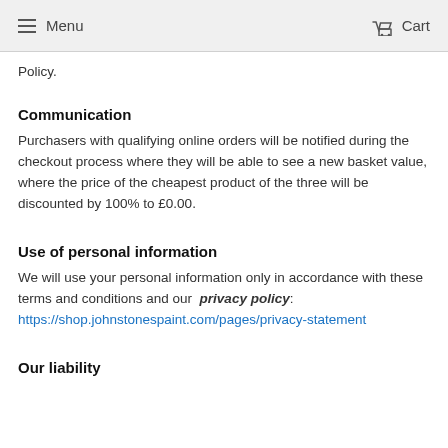Menu   Cart
Policy.
Communication
Purchasers with qualifying online orders will be notified during the checkout process where they will be able to see a new basket value, where the price of the cheapest product of the three will be discounted by 100% to £0.00.
Use of personal information
We will use your personal information only in accordance with these terms and conditions and our privacy policy: https://shop.johnstonespaint.com/pages/privacy-statement
Our liability